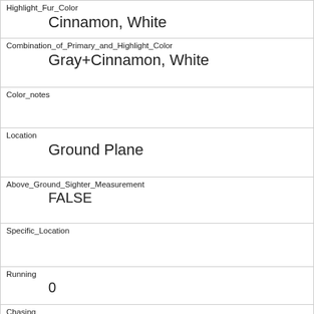| Highlight_Fur_Color | Cinnamon, White |
| Combination_of_Primary_and_Highlight_Color | Gray+Cinnamon, White |
| Color_notes |  |
| Location | Ground Plane |
| Above_Ground_Sighter_Measurement | FALSE |
| Specific_Location |  |
| Running | 0 |
| Chasing | 0 |
| Climbing | 0 |
| Eating | 1 |
| Foraging |  |